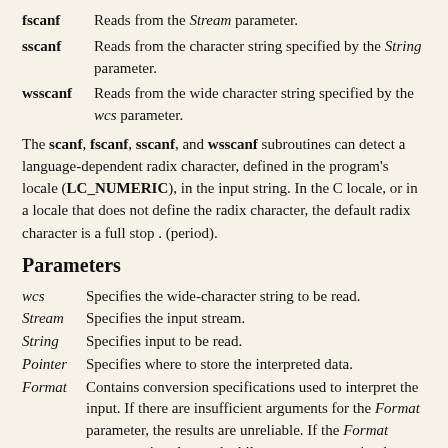fscanf  Reads from the Stream parameter.
sscanf  Reads from the character string specified by the String parameter.
wsscanf  Reads from the wide character string specified by the wcs parameter.
The scanf, fscanf, sscanf, and wsscanf subroutines can detect a language-dependent radix character, defined in the program's locale (LC_NUMERIC), in the input string. In the C locale, or in a locale that does not define the radix character, the default radix character is a full stop . (period).
Parameters
wcs  Specifies the wide-character string to be read.
Stream  Specifies the input stream.
String  Specifies input to be read.
Pointer  Specifies where to store the interpreted data.
Format  Contains conversion specifications used to interpret the input. If there are insufficient arguments for the Format parameter, the results are unreliable. If the Format parameter is exhausted while arguments remain, the excess arguments are evaluated as always but are otherwise ignored.